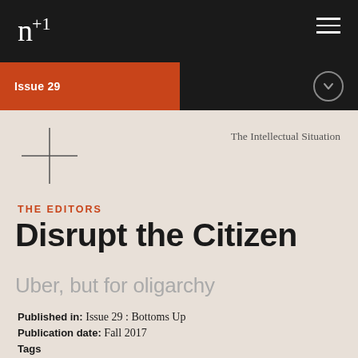n+1 | Issue 29
The Intellectual Situation
THE EDITORS
Disrupt the Citizen
Uber, but for oligarchy
Published in: Issue 29 : Bottoms Up
Publication date: Fall 2017
Tags